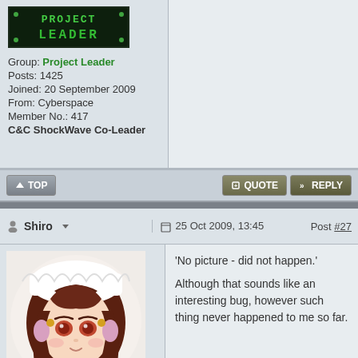[Figure (logo): Project Leader badge - green pixelated text on dark background]
Group: Project Leader
Posts: 1425
Joined: 20 September 2009
From: Cyberspace
Member No.: 417
C&C ShockWave Co-Leader
TOP | + QUOTE | » REPLY (action bar buttons)
Shiro | 25 Oct 2009, 13:45 | Post #27
[Figure (illustration): Anime maid girl avatar with brown hair and red eyes]
'No picture - did not happen.' Although that sounds like an interesting bug, however such thing never happened to me so far.
Gamer Girl